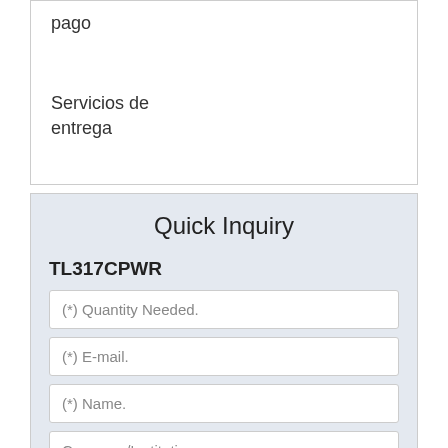pago
Servicios de entrega
Quick Inquiry
TL317CPWR
(*) Quantity Needed.
(*) E-mail.
(*) Name.
Company/Institution
Telephone